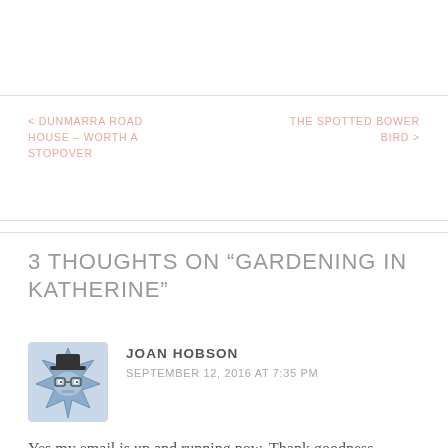< DUNMARRA ROAD HOUSE – WORTH A STOPOVER
THE SPOTTED BOWER BIRD >
3 THOUGHTS ON “GARDENING IN KATHERINE”
[Figure (illustration): Avatar icon of a cartoon monster-like character with star-shaped spiky blue body and simple face with glasses, on a light blue background]
JOAN HOBSON
SEPTEMBER 12, 2016 AT 7:35 PM
Yes my email is up and running now. Thank goodness. Also a very happy anniversary to you both for today the